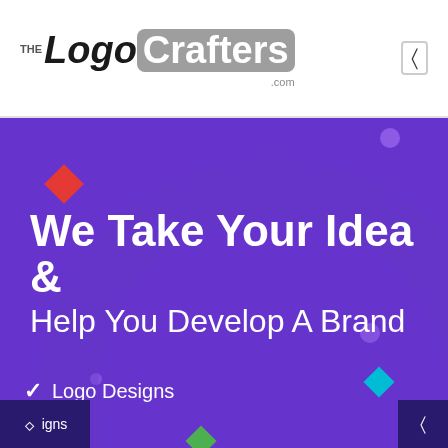[Figure (logo): TheLogoCrafters.com logo with stylized text and grey rounded rectangle around 'Crafters']
We Take Your Idea &
Help You Develop A Brand
Logo Designs